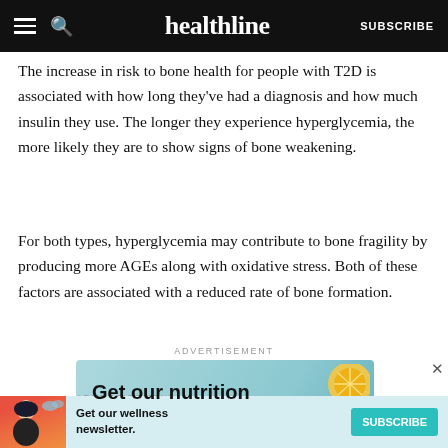healthline | SUBSCRIBE
The increase in risk to bone health for people with T2D is associated with how long they've had a diagnosis and how much insulin they use. The longer they experience hyperglycemia, the more likely they are to show signs of bone weakening.
For both types, hyperglycemia may contribute to bone fragility by producing more AGEs along with oxidative stress. Both of these factors are associated with a reduced rate of bone formation.
ADVERTISEMENT
[Figure (illustration): Advertisement banner: teal/light blue background with orange citrus slice graphic and bold text 'Get our nutrition']
ADVERTISEMENT
[Figure (illustration): Advertisement banner: light teal background with illustrated woman figure on left, text 'Get our wellness newsletter.' and a teal SUBSCRIBE button]